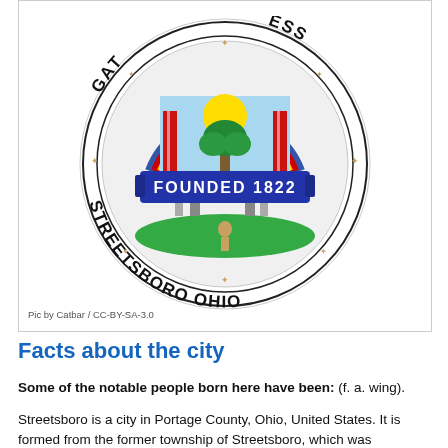[Figure (logo): Circular seal of Streetsboro, Ohio. Text around the rim reads 'GATEWAY TO SUCCESS' at top and 'STREETSBORO OHIO' at bottom. Center features an arch with rainbow colors, a sun, a tree, buildings, and a banner reading 'FOUNDED 1822'. Decorative star elements around the border.]
Pic by Catbar / CC-BY-SA-3.0
Facts about the city
Some of the notable people born here have been: (f. a. wing).
Streetsboro is a city in Portage County, Ohio, United States. It is formed from the former township of Streetsboro, which was